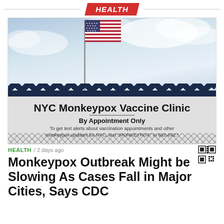HEALTH
[Figure (photo): Photo of NYC Monkeypox Vaccine Clinic sign with an American flag on a flagpole above the building. The sign reads 'NYC Monkeypox Vaccine Clinic / By Appointment Only / To get text alerts about vaccination appointments and other monkeypox updates for NYC, text "MONKEYPOX" to 692-692.' A chain-link fence is visible at the bottom.]
HEALTH / 2 days ago
Monkeypox Outbreak Might be Slowing As Cases Fall in Major Cities, Says CDC